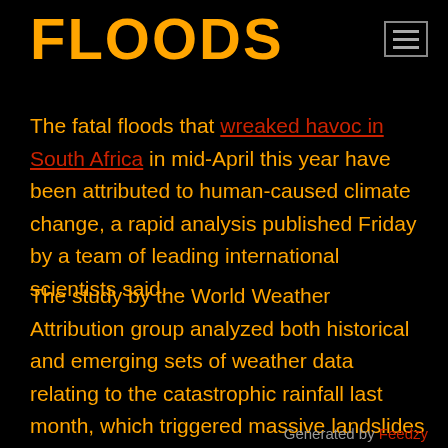FLOODS
The fatal floods that wreaked havoc in South Africa in mid-April this year have been attributed to human-caused climate change, a rapid analysis published Friday by a team of leading international scientists said.
The study by the World Weather Attribution group analyzed both historical and emerging sets of weather data relating to the catastrophic rainfall last month, which triggered massive landslides in South Africa's Eastern Cape and Kwa-Zulu Natal provinces, and p and concluded that climate change was a contributing factor to the scale of the damage.
Generated by Feedzy